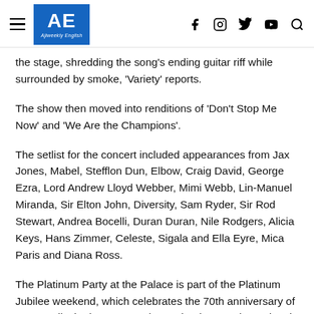AE Ajiweekly English
the stage, shredding the song's ending guitar riff while surrounded by smoke, 'Variety' reports.
The show then moved into renditions of 'Don't Stop Me Now' and 'We Are the Champions'.
The setlist for the concert included appearances from Jax Jones, Mabel, Stefflon Dun, Elbow, Craig David, George Ezra, Lord Andrew Lloyd Webber, Mimi Webb, Lin-Manuel Miranda, Sir Elton John, Diversity, Sam Ryder, Sir Rod Stewart, Andrea Bocelli, Duran Duran, Nile Rodgers, Alicia Keys, Hans Zimmer, Celeste, Sigala and Ella Eyre, Mica Paris and Diana Ross.
The Platinum Party at the Palace is part of the Platinum Jubilee weekend, which celebrates the 70th anniversary of Queen Elizabeth II's ascension to the throne. The national bank holiday began on Thursday and will conclude on